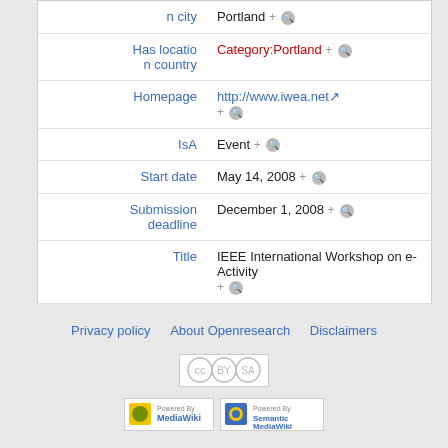| Property | Value |
| --- | --- |
| Has location city | Portland + 🔍 |
| Has location country | Category:Portland + 🔍 |
| Homepage | http://www.iwea.net + 🔍 |
| IsA | Event + 🔍 |
| Start date | May 14, 2008 + 🔍 |
| Submission deadline | December 1, 2008 + 🔍 |
| Title | IEEE International Workshop on e-Activity + 🔍 |
Privacy policy  About Openresearch  Disclaimers
[Figure (logo): Creative Commons BY-SA badge]
[Figure (logo): Powered by MediaWiki badge]
[Figure (logo): Powered by Semantic MediaWiki badge]